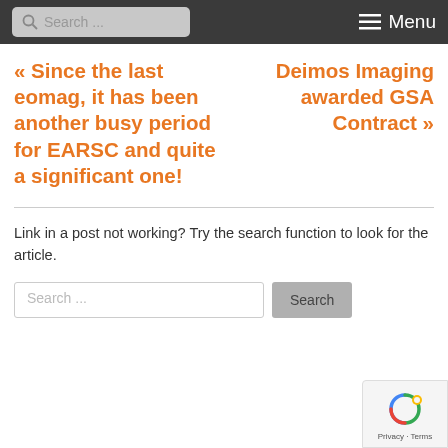Search ... Menu
« Since the last eomag, it has been another busy period for EARSC and quite a significant one!
Deimos Imaging awarded GSA Contract »
Link in a post not working? Try the search function to look for the article.
Search ... Search